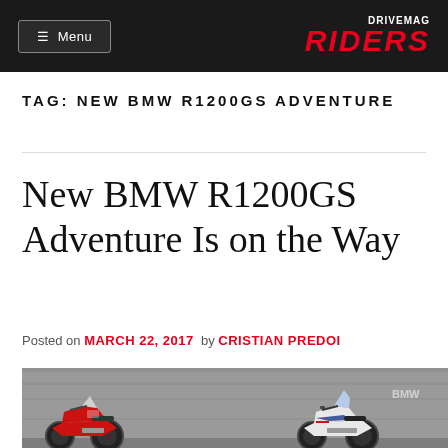☰ Menu | DRIVEMAG RIDERS
TAG: NEW BMW R1200GS ADVENTURE
New BMW R1200GS Adventure Is on the Way
Posted on MARCH 22, 2017 by CRISTIAN PREDOI
[Figure (photo): BMW R1200GS Adventure motorcycle photo, two bikes against a concrete wall]